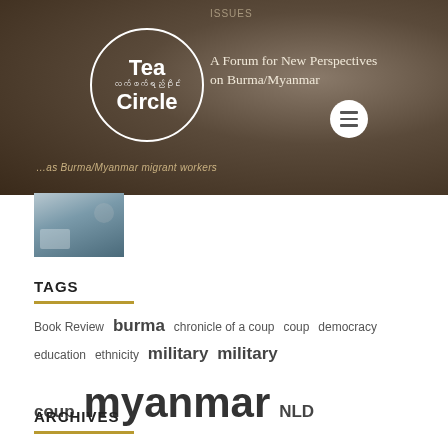[Figure (screenshot): Tea Circle website header banner with logo circle containing 'Tea Circle' text in English and Myanmar script, tagline 'A Forum for New Perspectives on Burma/Myanmar', with a hamburger menu button overlay and dark brown background with bokeh effect.]
[Figure (photo): Small thumbnail image showing an outdoor scene, appears to be people or objects in a natural setting.]
TAGS
Book Review  burma  chronicle of a coup  coup  democracy  education  ethnicity  military  military coup  myanmar  NLD  politics  Rohingya  transition  Yangon
ARCHIVES